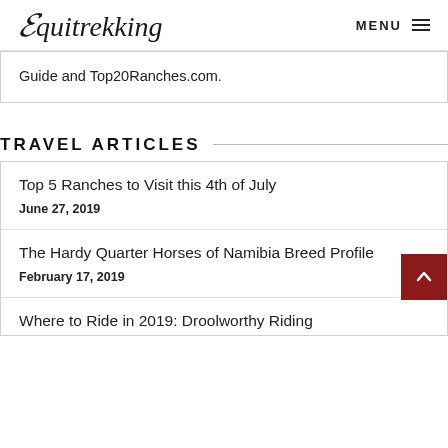Equitrekking  MENU
Guide and Top20Ranches.com.
TRAVEL ARTICLES
Top 5 Ranches to Visit this 4th of July
June 27, 2019
The Hardy Quarter Horses of Namibia Breed Profile
February 17, 2019
Where to Ride in 2019: Droolworthy Riding